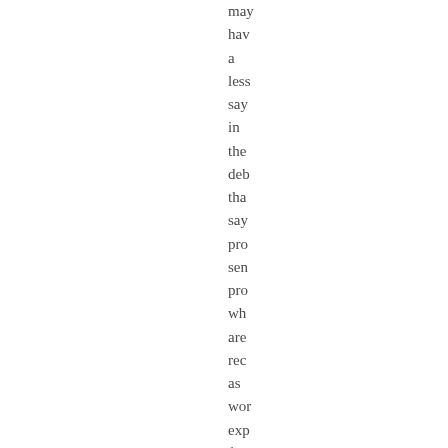may have a less say in the deb that says pro sen pro who are reco as wor exp for reas that hav